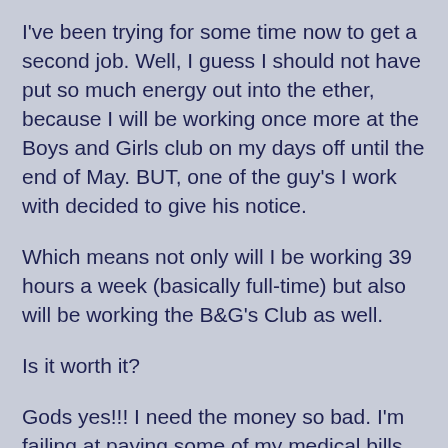I've been trying for some time now to get a second job. Well, I guess I should not have put so much energy out into the ether, because I will be working once more at the Boys and Girls club on my days off until the end of May. BUT, one of the guy's I work with decided to give his notice.
Which means not only will I be working 39 hours a week (basically full-time) but also will be working the B&G's Club as well.
Is it worth it?
Gods yes!!! I need the money so bad. I'm failing at paying some of my medical bills. However, it is seriously taking away from other things. Writing has fallen to the wayside the most. Half the time I get home (around 11 p.m.) and either just want to veg in front of the T.V. or hop on to EverQuest 2. (It's worse than World of Warcraft.)
I need to make a serious commitment to my writing! As well as get back on track with my blogging.